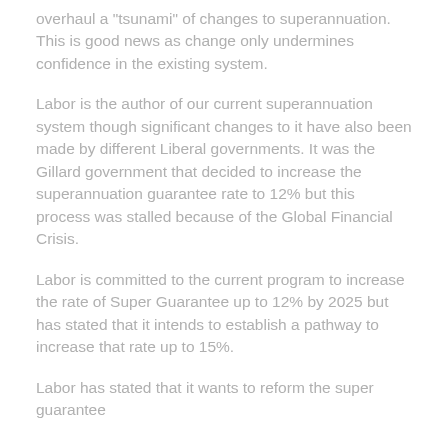overhaul a "tsunami" of changes to superannuation.  This is good news as change only undermines confidence in the existing system.
Labor is the author of our current superannuation system though significant changes to it have also been made by different Liberal governments.  It was the Gillard government that decided to increase the superannuation guarantee rate to 12% but this process was stalled because of the Global Financial Crisis.
Labor is committed to the current program to increase the rate of Super Guarantee up to 12% by 2025 but has stated that it intends to establish a pathway to increase that rate up to 15%.
Labor has stated that it wants to reform the super guarantee so that it applies to everyone's superannuation.